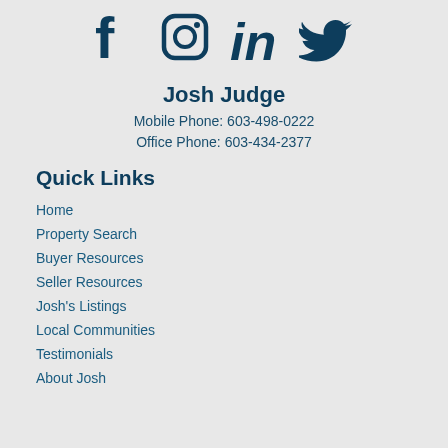[Figure (illustration): Social media icons: Facebook, Instagram, LinkedIn, Twitter in dark teal color]
Josh Judge
Mobile Phone: 603-498-0222
Office Phone: 603-434-2377
Quick Links
Home
Property Search
Buyer Resources
Seller Resources
Josh's Listings
Local Communities
Testimonials
About Josh